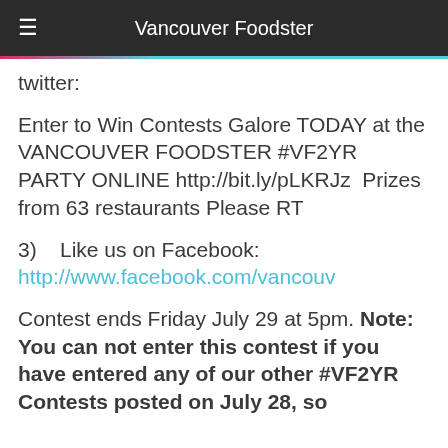Vancouver Foodster
twitter:
Enter to Win Contests Galore TODAY at the VANCOUVER FOODSTER #VF2YR PARTY ONLINE http://bit.ly/pLKRJz  Prizes from 63 restaurants Please RT
3)    Like us on Facebook: http://www.facebook.com/vancouv
Contest ends Friday July 29 at 5pm. Note: You can not enter this contest if you have entered any of our other #VF2YR Contests posted on July 28, so